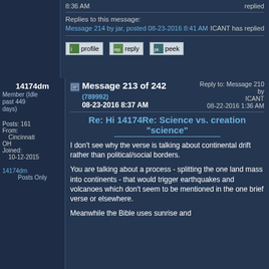8:36 AM    replied
Replies to this message:
Message 214 by jar, posted 08-23-2016 8:41 AM    ICANT has replied
profile   reply   peek
14174dm Member (Idle past 449 days)
Message 213 of 242 (789992) 08-23-2016 8:37 AM   Reply to: Message 210 by ICANT 08-22-2016 1:36 AM
Re: Hi 14174Re: Science vs. creation "science"
I don't see why the verse is talking about continental drift rather than political/social borders.
You are talking about a process - splitting the one land mass into continents - that would trigger earthquakes and volcanoes which don't seem to be mentioned in the one brief verse or elsewhere.
Meanwhile the Bible uses sunrise and